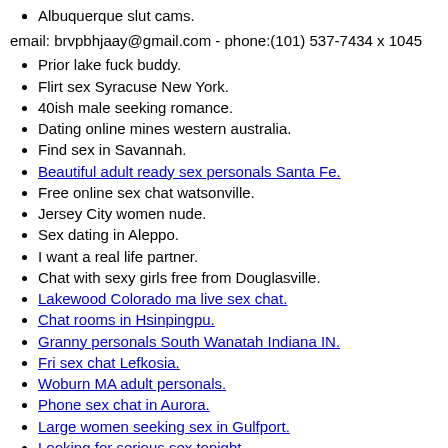Albuquerque slut cams.
email: brvpbhjaay@gmail.com - phone:(101) 537-7434 x 1045
Prior lake fuck buddy.
Flirt sex Syracuse New York.
40ish male seeking romance.
Dating online mines western australia.
Find sex in Savannah.
Beautiful adult ready sex personals Santa Fe.
Free online sex chat watsonville.
Jersey City women nude.
Sex dating in Aleppo.
I want a real life partner.
Chat with sexy girls free from Douglasville.
Lakewood Colorado ma live sex chat.
Chat rooms in Hsinpingpu.
Granny personals South Wanatah Indiana IN.
Fri sex chat Lefkosia.
Woburn MA adult personals.
Phone sex chat in Aurora.
Large women seeking sex in Gulfport.
Looking for serious sex tonight.
Charleston IL housewives personals.
27 m looking for woman.
Holcomb IL housewives personals.